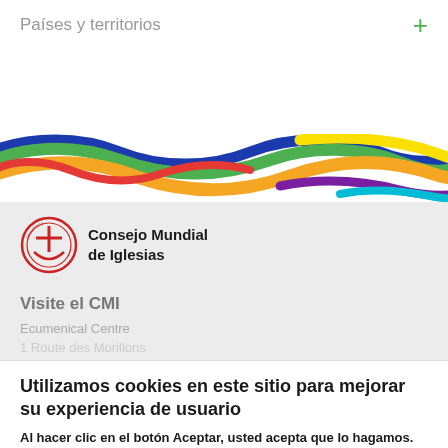Países y territorios
[Figure (illustration): Colorful wavy ribbon graphic with blue, green, orange, red, yellow, purple, and cyan interweaving stripes across full width]
[Figure (logo): Consejo Mundial de Iglesias (World Council of Churches) logo with circular red emblem featuring cross and boat symbol, next to bold text 'Consejo Mundial de Iglesias']
Visite el CMI
Ecumenical Centre
1 Route des Morillons
Utilizamos cookies en este sitio para mejorar su experiencia de usuario
Al hacer clic en el botón Aceptar, usted acepta que lo hagamos.
Más información